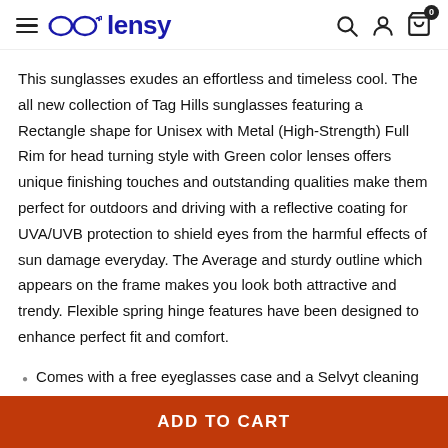lensy
This sunglasses exudes an effortless and timeless cool. The all new collection of Tag Hills sunglasses featuring a Rectangle shape for Unisex with Metal (High-Strength) Full Rim for head turning style with Green color lenses offers unique finishing touches and outstanding qualities make them perfect for outdoors and driving with a reflective coating for UVA/UVB protection to shield eyes from the harmful effects of sun damage everyday. The Average and sturdy outline which appears on the frame makes you look both attractive and trendy. Flexible spring hinge features have been designed to enhance perfect fit and comfort.
Comes with a free eyeglasses case and a Selvyt cleaning cloth on all orders. Complementary screw driver set and lens cleaning
ADD TO CART